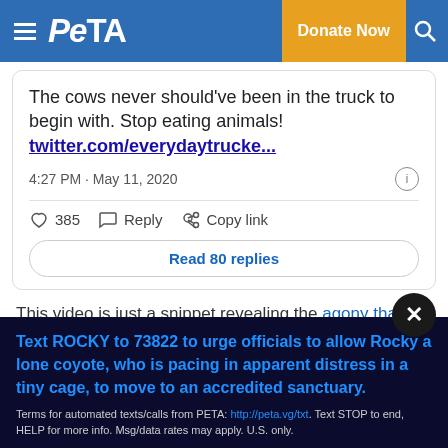PETA | Donate Now
The cows never should've been in the truck to begin with. Stop eating animals! twitter.com/everydaytrucke...
4:27 PM · May 11, 2020
385  Reply  Copy link
Read 80 replies
This video is just a snippet revealing the agony that animals face before they even reach a slaughterhouse kill floor.
Text ROCKY to 73822 to urge officials to allow Rocky a lone coyote, who is pacing in apparent distress in a tiny cage, to move to an accredited sanctuary.
Terms for automated texts/calls from PETA: http://peta.vg/txt. Text STOP to end, HELP for more info. Msg/data rates may apply. U.S. only.